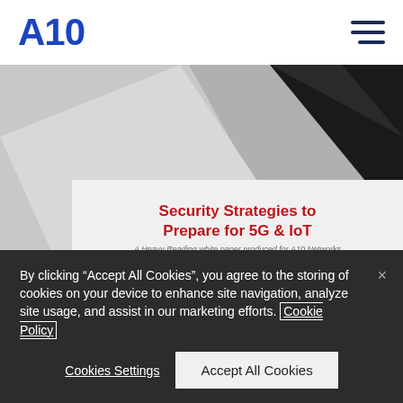A10 Networks
[Figure (screenshot): A10 Networks website screenshot showing a white paper cover for 'Security Strategies to Prepare for 5G & IoT - A Heavy Reading white paper produced for A10 Networks' against a gray and black geometric background]
By clicking “Accept All Cookies”, you agree to the storing of cookies on your device to enhance site navigation, analyze site usage, and assist in our marketing efforts. Cookie Policy
Cookies Settings
Accept All Cookies